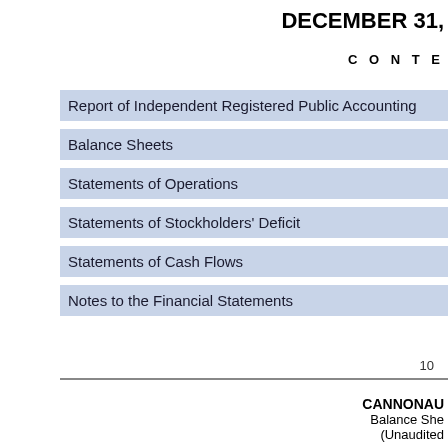DECEMBER 31,
C O N T E
Report of Independent Registered Public Accounting
Balance Sheets
Statements of Operations
Statements of Stockholders' Deficit
Statements of Cash Flows
Notes to the Financial Statements
10
CANNONAU
Balance She
(Unaudited